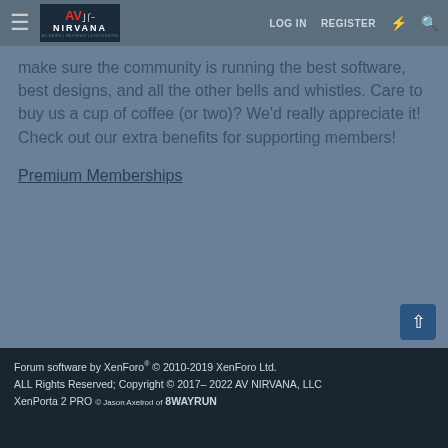AV NIRVANA | LOG IN | REGISTER
make sure the community is running the best software, best designs, and all the other bells and whistles. Care to buy us a cup of coffee (or two)? We'd really appreciate it! Check out our extra benefits for supporting members!
Premium Memberships
Forum software by XenForo® © 2010-2019 XenForo Ltd. ALL Rights Reserved; Copyright © 2017– 2022 AV NIRVANA, LLC XenPorta 2 PRO © Jason Axelrod of 8WAYRUN